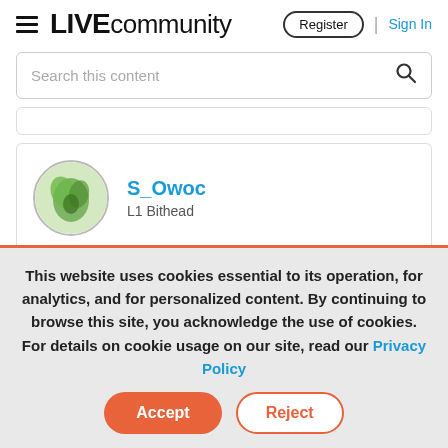LIVE community | Register | Sign In
Search this content
S_Owoc
L1 Bithead
This website uses cookies essential to its operation, for analytics, and for personalized content. By continuing to browse this site, you acknowledge the use of cookies. For details on cookie usage on our site, read our Privacy Policy